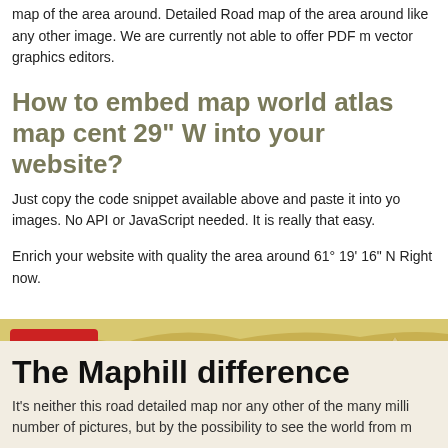map of the area around. Detailed Road map of the area around like any other image. We are currently not able to offer PDF m vector graphics editors.
How to embed map world atlas map cent 29" W into your website?
Just copy the code snippet available above and paste it into yo images. No API or JavaScript needed. It is really that easy.
Enrich your website with quality the area around 61° 19' 16" N Right now.
[Figure (map): Terrain/topographic map strip showing mountainous landscape with green and tan colors, with Maphill logo in red square at top left]
The Maphill difference
It's neither this road detailed map nor any other of the many milli number of pictures, but by the possibility to see the world from m